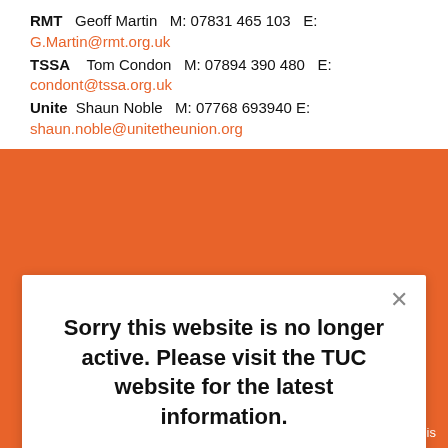RMT   Geoff Martin   M: 07831 465 103   E: G.Martin@rmt.org.uk
TSSA   Tom Condon   M: 07894 390 480   E: condont@tssa.org.uk
Unite   Shaun Noble   M: 07768 693940 E: shaun.noble@unitetheunion.org
Sorry this website is no longer active. Please visit the TUC website for the latest information.
Yes please!
No, thanks!
+ AddThis